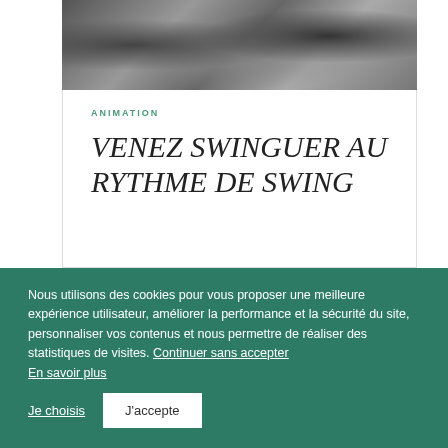[Figure (photo): Black and white photo of musicians playing instruments including what appears to be a double bass and saxophone]
ANIMATION
VENEZ SWINGUER AU RYTHME DE SWING
Nous utilisons des cookies pour vous proposer une meilleure expérience utilisateur, améliorer la performance et la sécurité du site, personnaliser vos contenus et nous permettre de réaliser des statistiques de visites. Continuer sans accepter
En savoir plus
Je choisis
J'accepte